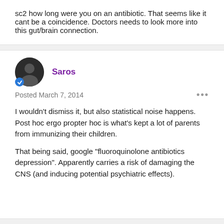sc2 how long were you on an antibiotic. That seems like it cant be a coincidence. Doctors needs to look more into this gut/brain connection.
Saros
Posted March 7, 2014
I wouldn't dismiss it, but also statistical noise happens. Post hoc ergo propter hoc is what's kept a lot of parents from immunizing their children.
That being said, google "fluoroquinolone antibiotics depression". Apparently carries a risk of damaging the CNS (and inducing potential psychiatric effects).